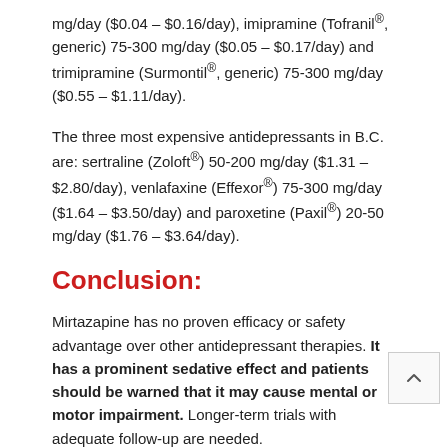mg/day ($0.04 – $0.16/day), imipramine (Tofranil®, generic) 75-300 mg/day ($0.05 – $0.17/day) and trimipramine (Surmontil®, generic) 75-300 mg/day ($0.55 – $1.11/day).
The three most expensive antidepressants in B.C. are: sertraline (Zoloft®) 50-200 mg/day ($1.31 – $2.80/day), venlafaxine (Effexor®) 75-300 mg/day ($1.64 – $3.50/day) and paroxetine (Paxil®) 20-50 mg/day ($1.76 – $3.64/day).
Conclusion:
Mirtazapine has no proven efficacy or safety advantage over other antidepressant therapies. It has a prominent sedative effect and patients should be warned that it may cause mental or motor impairment. Longer-term trials with adequate follow-up are needed.